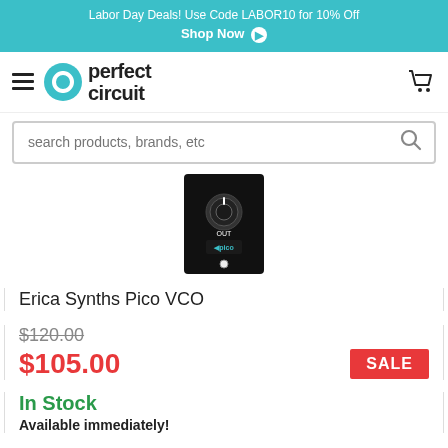Labor Day Deals! Use Code LABOR10 for 10% Off
Shop Now
[Figure (logo): Perfect Circuit logo with hamburger menu and cart icon]
search products, brands, etc
[Figure (photo): Erica Synths Pico VCO module product image on black background]
Erica Synths Pico VCO
$120.00
$105.00
SALE
In Stock
Available immediately!